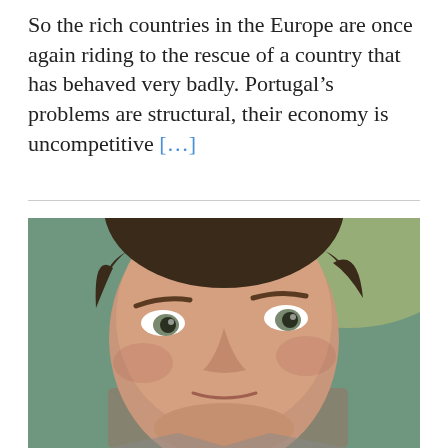So the rich countries in the Europe are once again riding to the rescue of a country that has behaved very badly. Portugal's problems are structural, their economy is uncompetitive [...]
[Figure (photo): Close-up photograph of a middle-aged man with brown/dark hair, light skin, blue-grey eyes, looking slightly upward, against a blurred teal/green background.]